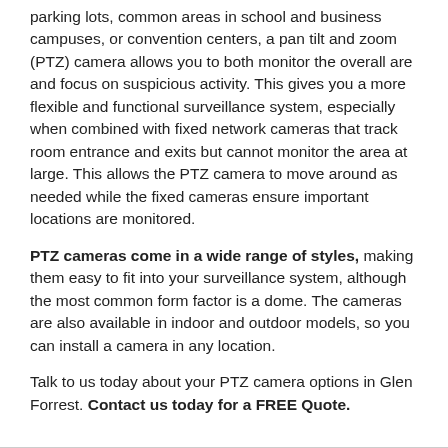parking lots, common areas in school and business campuses, or convention centers, a pan tilt and zoom (PTZ) camera allows you to both monitor the overall are and focus on suspicious activity. This gives you a more flexible and functional surveillance system, especially when combined with fixed network cameras that track room entrance and exits but cannot monitor the area at large. This allows the PTZ camera to move around as needed while the fixed cameras ensure important locations are monitored.
PTZ cameras come in a wide range of styles, making them easy to fit into your surveillance system, although the most common form factor is a dome. The cameras are also available in indoor and outdoor models, so you can install a camera in any location.
Talk to us today about your PTZ camera options in Glen Forrest. Contact us today for a FREE Quote.